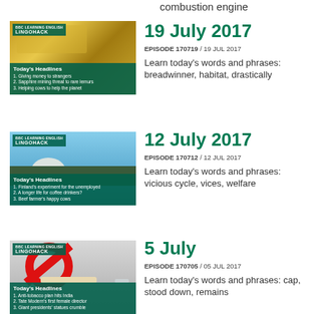combustion engine
[Figure (photo): Lingohack episode thumbnail showing money/euros being handed over, with Today's Headlines overlay listing: 1. Giving money to strangers 2. Sapphire mining threat to rare lemurs 3. Helping cows to help the planet]
19 July 2017
EPISODE 170719 / 19 JUL 2017
Learn today's words and phrases: breadwinner, habitat, drastically
[Figure (photo): Lingohack episode thumbnail showing Helsinki cathedral and skyline, with Today's Headlines overlay listing: 1. Finland's experiment for the unemployed 2. A longer life for coffee drinkers? 3. Beef farmer's happy cows]
12 July 2017
EPISODE 170712 / 12 JUL 2017
Learn today's words and phrases: vicious cycle, vices, welfare
[Figure (photo): Lingohack episode thumbnail showing no-smoking sign with cigarette, with Today's Headlines overlay listing: 1. Anti-tobacco plan hits India 2. Tate Modern's first female director 3. Giant presidents' statues crumble]
5 July
EPISODE 170705 / 05 JUL 2017
Learn today's words and phrases: cap, stood down, remains